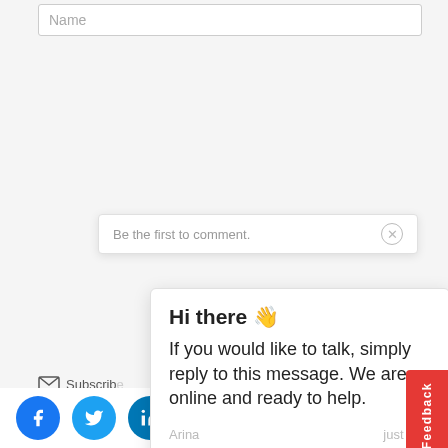Name
Be the first to comment.
Hi there 👋 If you would like to talk, simply reply to this message. We are online and ready to help.
Arina  just now
Write a reply..
Feedback
Conta
te
NAME
EMAIL
y
[Figure (screenshot): Social media and contact buttons: Facebook, Twitter, LinkedIn circle icons and CONTACT US pill button, plus chat FAB with badge 1]